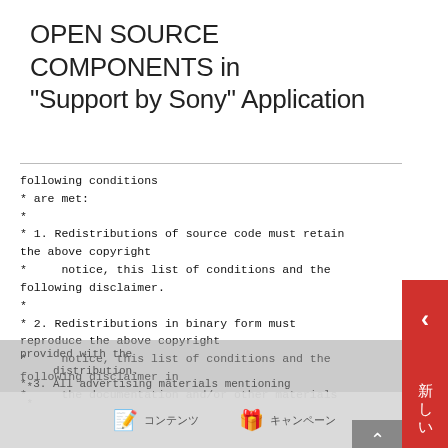OPEN SOURCE COMPONENTS in "Support by Sony" Application
following conditions
 * are met:
 *
 * 1. Redistributions of source code must retain the above copyright
 *      notice, this list of conditions and the following disclaimer.
 *
 * 2. Redistributions in binary form must reproduce the above copyright
 *      notice, this list of conditions and the following disclaimer in
 *      the documentation and/or other materials provided with the
 *      distribution.
 *
 * 3. All advertising materials mentioning